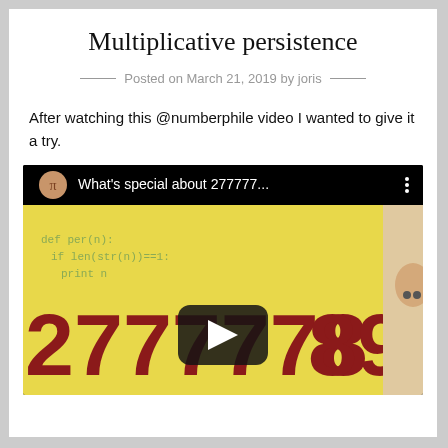Multiplicative persistence
Posted on March 21, 2019 by joris
After watching this @numberphile video I wanted to give it a try.
[Figure (screenshot): YouTube video thumbnail for 'What's special about 277777...' showing a bald man with wide eyes, large dark-red numbers 277777788888899 on a yellow background, with code visible, and a play button overlay.]